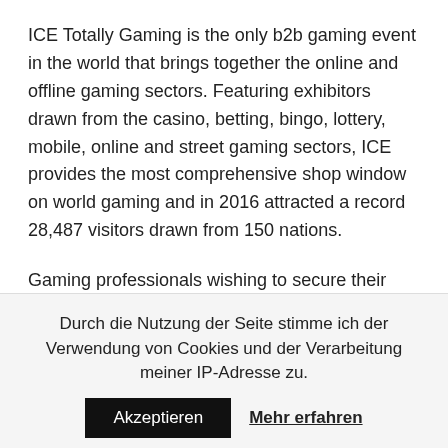ICE Totally Gaming is the only b2b gaming event in the world that brings together the online and offline gaming sectors. Featuring exhibitors drawn from the casino, betting, bingo, lottery, mobile, online and street gaming sectors, ICE provides the most comprehensive shop window on world gaming and in 2016 attracted a record 28,487 visitors drawn from 150 nations.
Gaming professionals wishing to secure their place at ICE Totally Gaming 2017 should visit icetotallygaming.com. The ICE VOX Brochure and Agenda can be downloaded at icetotallygaming.com/icevox
Quelle: SJC Ltd.
16. December 2016
Durch die Nutzung der Seite stimme ich der Verwendung von Cookies und der Verarbeitung meiner IP-Adresse zu.
Akzeptieren  Mehr erfahren